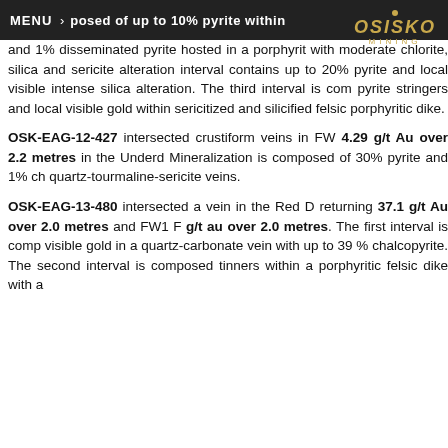MENU > OSISKO MINING
posed of up to 10% pyrite within s and 1% disseminated pyrite hosted in a porphyrit with moderate chlorite, silica and sericite alteration interval contains up to 20% pyrite and local visible intense silica alteration. The third interval is com pyrite stringers and local visible gold within sericitized and silicified felsic porphyritic dike.
OSK-EAG-12-427 intersected crustiform veins in FW 4.29 g/t Au over 2.2 metres in the Underd Mineralization is composed of 30% pyrite and 1% ch quartz-tourmaline-sericite veins.
OSK-EAG-13-480 intersected a vein in the Red D returning 37.1 g/t Au over 2.0 metres and FW1 F g/t au over 2.0 metres. The first interval is comp visible gold in a quartz-carbonate vein with up to 39 % chalcopyrite. The second interval is composed tinners within a porphyritic felsic dike with a